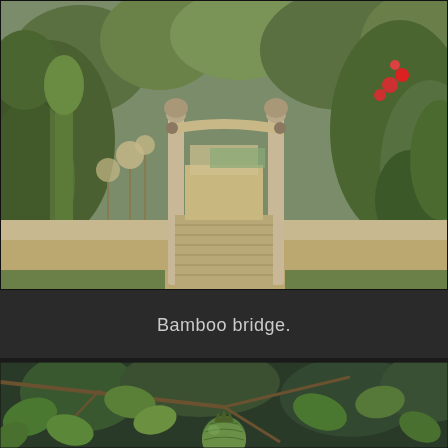[Figure (photo): A garden path with a bamboo arch/gate structure. Wooden plank walkway leads through the bamboo arch into a garden area with lush green vegetation on both sides including tall plants, flowering shrubs, and trees. Gravel path continues beyond the bridge into the garden.]
Bamboo bridge.
[Figure (photo): Close-up photograph of a green pomegranate fruit hanging on a tree branch, surrounded by serrated green leaves. The fruit is round and green, partially visible among the foliage. Background shows additional tree branches and out-of-focus vegetation.]